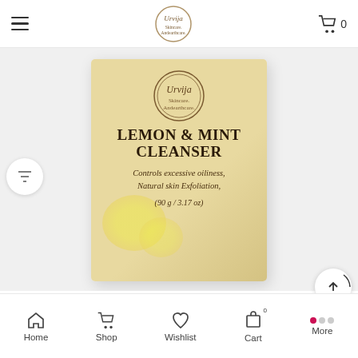Urvija — Skincare. Andearthcare.
[Figure (photo): Product photo of Urvija Lemon & Mint Cleanser box, kraft/tan colored packaging with circular brand logo, bold text reading LEMON & MINT CLEANSER, italic text Controls excessive oiliness, Natural skin Exfoliation, (90 g / 3.17 oz), yellow lemon decorative element at bottom.]
Lemon Mint Cleanser
Home  Shop  Wishlist  Cart  More